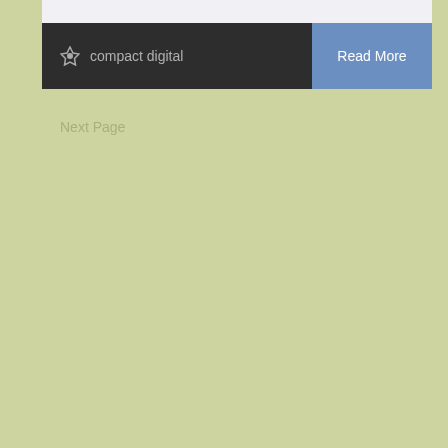compact camera for those instances the place you are not using your SLR, take into account one that offers you the flexibleness to alter settings and put your artistic means to make use of.
The early compact models had a few main disadvantages, having a substantial delay between whenever you pressed the shot button and when the digital camera actually took the image and had a considerable cycle between taking the shot and bei...
compact digital
Read More
Next Page